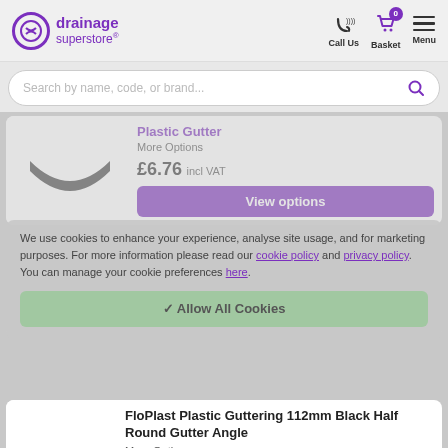[Figure (logo): Drainage Superstore logo with purple circular icon and brand name]
Call Us
Basket 0
Menu
Search by name, code, or brand...
Plastic Gutter
More Options
£6.76 incl VAT
View options
We use cookies to enhance your experience, analyse site usage, and for marketing purposes. For more information please read our cookie policy and privacy policy. You can manage your cookie preferences here
Allow All Cookies
FloPlast Plastic Guttering 112mm Black Half Round Gutter Angle
More Options
★★★★★
£3.50 incl VAT
View options